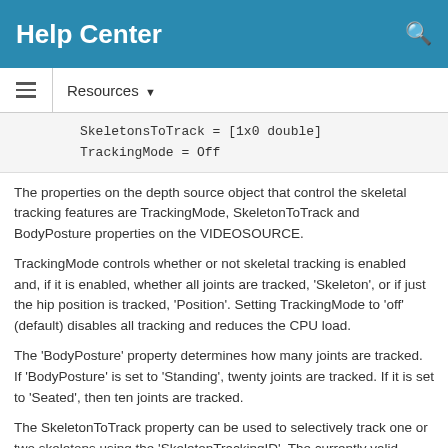Help Center
Resources ▼
SkeletonsToTrack = [1x0 double]
TrackingMode = Off
The properties on the depth source object that control the skeletal tracking features are TrackingMode, SkeletonToTrack and BodyPosture properties on the VIDEOSOURCE.
TrackingMode controls whether or not skeletal tracking is enabled and, if it is enabled, whether all joints are tracked, 'Skeleton', or if just the hip position is tracked, 'Position'. Setting TrackingMode to 'off' (default) disables all tracking and reduces the CPU load.
The 'BodyPosture' property determines how many joints are tracked. If 'BodyPosture' is set to 'Standing', twenty joints are tracked. If it is set to 'Seated', then ten joints are tracked.
The SkeletonToTrack property can be used to selectively track one or two skeletons using the 'SkeletonTrackingID'. The currently valid values for 'SkeletonTrackingID' are returned as a ...